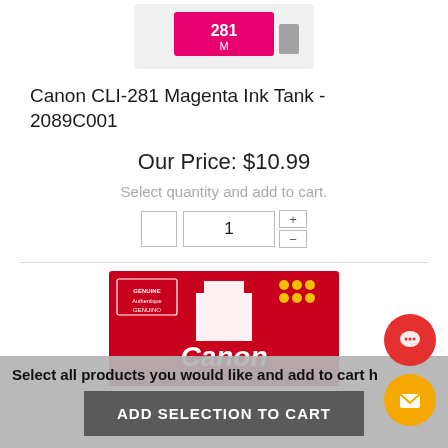[Figure (photo): Top portion of Canon CLI-281 Magenta ink tank product image showing the top of the cartridge box with '281 M' label on magenta background]
Canon CLI-281 Magenta Ink Tank - 2089C001
Our Price: $10.99
Select quantity and add to cart.
[Figure (photo): Canon CLI-281 Magenta ink tank product box showing red/magenta packaging with 'GENUINE Authentique GENUINO' stamp, Canon logo in white italic text, and yellow barcode area]
Select all products you would like and add to cart h
ADD SELECTION TO CART